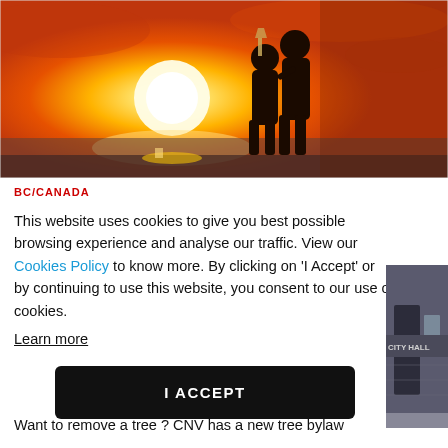[Figure (photo): Two silhouetted people embracing at sunset near water, one holding a wine glass, warm golden-orange sky and bright sun in background]
BC/CANADA
This website uses cookies to give you best possible browsing experience and analyse our traffic. View our Cookies Policy to know more. By clicking on 'I Accept' or by continuing to use this website, you consent to our use of cookies.
Learn more
[Figure (photo): Partial view of a building exterior, appears to show 'CITY HALL' signage on a brick or stone facade]
I ACCEPT
Want to remove a tree ? CNV has a new tree bylaw